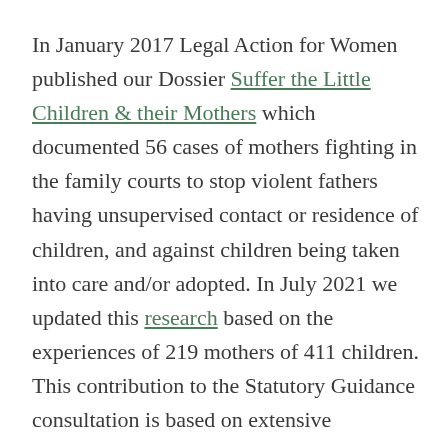In January 2017 Legal Action for Women published our Dossier Suffer the Little Children & their Mothers which documented 56 cases of mothers fighting in the family courts to stop violent fathers having unsupervised contact or residence of children, and against children being taken into care and/or adopted. In July 2021 we updated this research based on the experiences of 219 mothers of 411 children.
This contribution to the Statutory Guidance consultation is based on extensive